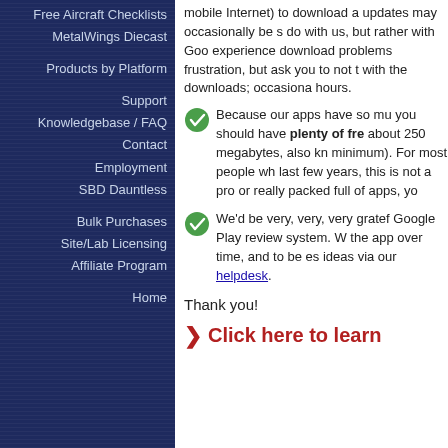Free Aircraft Checklists
MetalWings Diecast
Products by Platform
Support
Knowledgebase / FAQ
Contact
Employment
SBD Dauntless
Bulk Purchases
Site/Lab Licensing
Affiliate Program
Home
mobile Internet) to download a updates may occasionally be s do with us, but rather with Goo experience download problems frustration, but ask you to not t with the downloads; occasiona hours.
Because our apps have so mu you should have plenty of fre about 250 megabytes, also kn minimum). For most people wh last few years, this is not a pro or really packed full of apps, yo
We'd be very, very, very gratef Google Play review system. W the app over time, and to be es ideas via our helpdesk.
Thank you!
Click here to learn